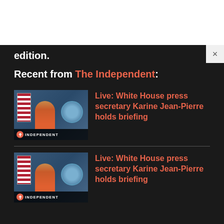edition.
Recent from The Independent:
[Figure (screenshot): Thumbnail of Karine Jean-Pierre at White House podium with American flag and White House seal, with INDEPENDENT logo bar at bottom]
Live: White House press secretary Karine Jean-Pierre holds briefing
[Figure (screenshot): Thumbnail of Karine Jean-Pierre at White House podium with American flag and White House seal, with INDEPENDENT logo bar at bottom]
Live: White House press secretary Karine Jean-Pierre holds briefing